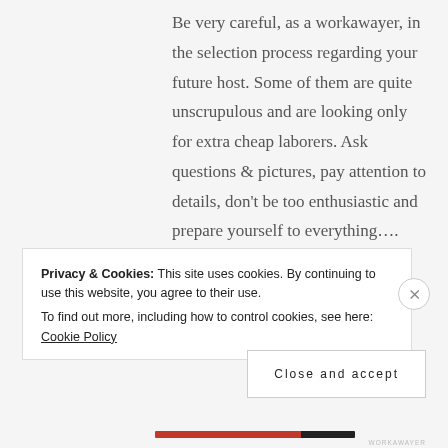Be very careful, as a workawayer, in the selection process regarding your future host. Some of them are quite unscrupulous and are looking only for extra cheap laborers. Ask questions & pictures, pay attention to details, don't be too enthusiastic and prepare yourself to everything….
I got screwed myself a month and a half ago by a couple in Finnish
Privacy & Cookies: This site uses cookies. By continuing to use this website, you agree to their use.
To find out more, including how to control cookies, see here: Cookie Policy
Close and accept